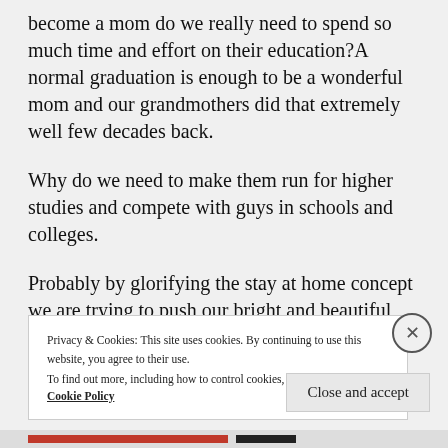become a mom do we really need to spend so much time and effort on their education?A normal graduation is enough to be a wonderful mom and our grandmothers did that extremely well few decades back.
Why do we need to make them run for higher studies and compete with guys in schools and colleges.
Probably by glorifying the stay at home concept we are trying to push our bright and beautiful girls back to the ages when they women were
Privacy & Cookies: This site uses cookies. By continuing to use this website, you agree to their use.
To find out more, including how to control cookies, see here: Cookie Policy
Close and accept